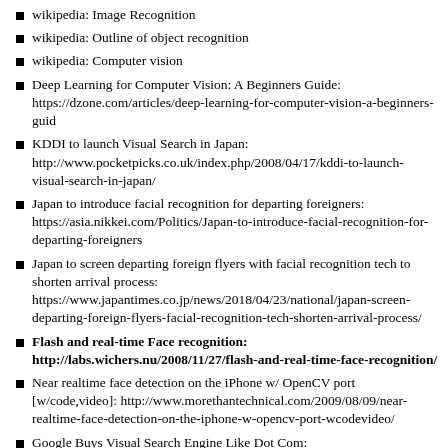wikipedia: Image Recognition
wikipedia: Outline of object recognition
wikipedia: Computer vision
Deep Learning for Computer Vision: A Beginners Guide: https://dzone.com/articles/deep-learning-for-computer-vision-a-beginners-guid
KDDI to launch Visual Search in Japan: http://www.pocketpicks.co.uk/index.php/2008/04/17/kddi-to-launch-visual-search-in-japan/
Japan to introduce facial recognition for departing foreigners: https://asia.nikkei.com/Politics/Japan-to-introduce-facial-recognition-for-departing-foreigners
Japan to screen departing foreign flyers with facial recognition tech to shorten arrival process: https://www.japantimes.co.jp/news/2018/04/23/national/japan-screen-departing-foreign-flyers-facial-recognition-tech-shorten-arrival-process/
Flash and real-time Face recognition: http://labs.wichers.nu/2008/11/27/flash-and-real-time-face-recognition/
Near realtime face detection on the iPhone w/ OpenCV port [w/code,video]: http://www.morethantechnical.com/2009/08/09/near-realtime-face-detection-on-the-iphone-w-opencv-port-wcodevideo/
Google Buys Visual Search Engine Like Dot Com: http://www.articlesnatch.com/Article/Google-Buys-Visual